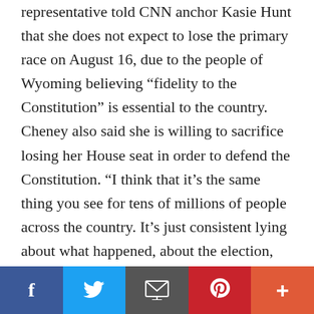representative told CNN anchor Kasie Hunt that she does not expect to lose the primary race on August 16, due to the people of Wyoming believing “fidelity to the Constitution” is essential to the country. Cheney also said she is willing to sacrifice losing her House seat in order to defend the Constitution. “I think that it’s the same thing you see for tens of millions of people across the country. It’s just consistent lying about what happened, about the election, playing on people’s patriotism and he’s so dangerous that my view is that at the end of day if defending the Constitution against the threat that he poses means losing a [House seat, then that’s a sacrifice that I’m willi...]